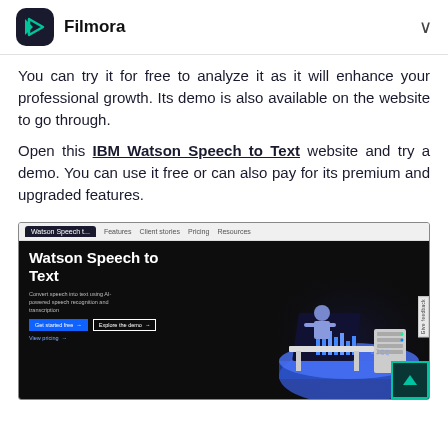Filmora
You can try it for free to analyze it as it will enhance your professional growth. Its demo is also available on the website to go through.
Open this IBM Watson Speech to Text website and try a demo. You can use it free or can also pay for its premium and upgraded features.
[Figure (screenshot): Screenshot of the IBM Watson Speech to Text website showing dark background with the product title 'Watson Speech to Text', navigation tabs (Features, Client stories, Pricing, Resources), a description 'Convert speech into text using AI-powered speech recognition and transcription', two CTA buttons 'Get started free' and 'Explore the demo', a 'View pricing' link, and an isometric 3D illustration of a person at a desk with a monitor showing audio waveforms and a server rack on a blue platform.]